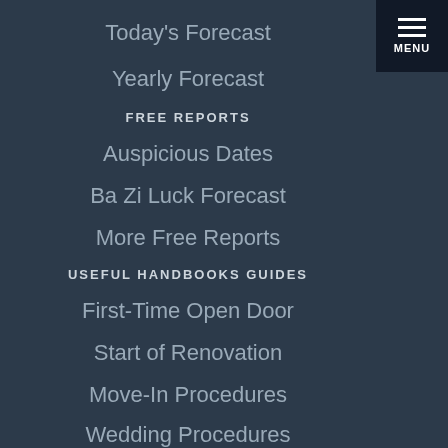Today's Forecast
Yearly Forecast
FREE REPORTS
Auspicious Dates
Ba Zi Luck Forecast
More Free Reports
USEFUL HANDBOOKS GUIDES
First-Time Open Door
Start of Renovation
Move-In Procedures
Wedding Procedures